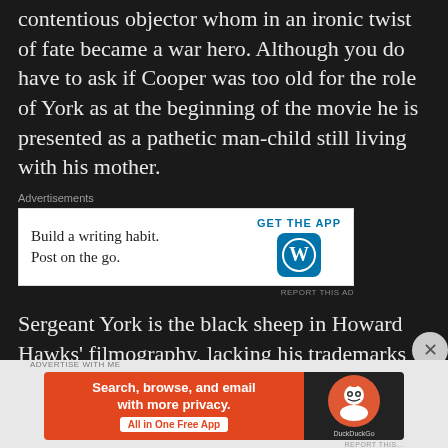contentious objector whom in an ironic twist of fate became a war hero. Although you do have to ask if Cooper was too old for the role of York as at the beginning of the movie he is presented as a pathetic man-child still living with his mother.
[Figure (other): WordPress advertisement: 'Build a writing habit. Post on the go.' with GET THE APP button and WordPress logo]
Sergeant York is the black sheep in Howard Hawks’ filmography, lacking his trademarks and in many ways the opposite of what you
[Figure (other): DuckDuckGo advertisement: 'Search, browse, and email with more privacy. All in One Free App' with DuckDuckGo logo on dark background]